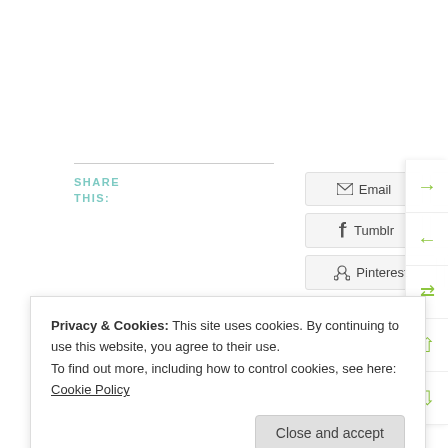SHARE THIS:
Email  Facebook  Twitter  Tumblr  Print  Reddit  Pinterest  More
Tagged With: July 27 Filed Under: Daily Astrology
Privacy & Cookies: This site uses cookies. By continuing to use this website, you agree to their use.
To find out more, including how to control cookies, see here: Cookie Policy
Close and accept
July 26, 2015   July 28, 2015